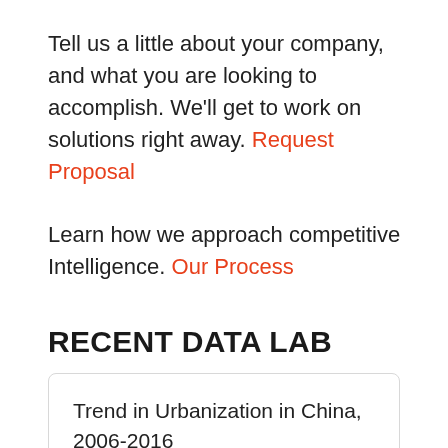Tell us a little about your company, and what you are looking to accomplish. We'll get to work on solutions right away. Request Proposal
Learn how we approach competitive Intelligence. Our Process
RECENT DATA LAB
Trend in Urbanization in China, 2006-2016